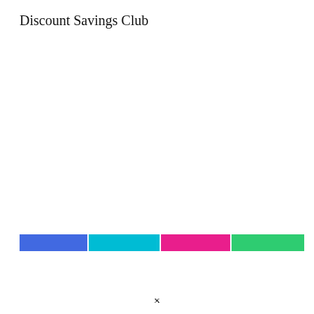Discount Savings Club
[Figure (stacked-bar-chart): Discount Savings Club]
x